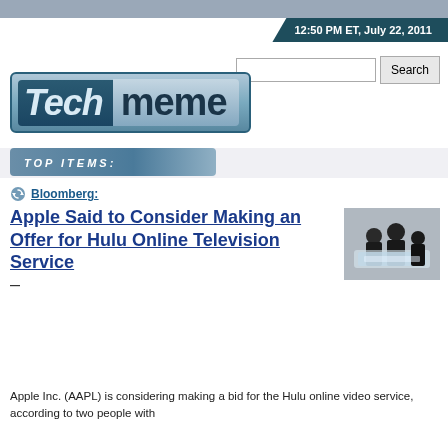12:50 PM ET, July 22, 2011
[Figure (logo): Techmeme logo — 'Tech' in dark teal italic block, 'meme' in lighter blue block, on a gradient blue-grey background]
TOP ITEMS:
Bloomberg:
Apple Said to Consider Making an Offer for Hulu Online Television Service —
[Figure (photo): People silhouetted at what appears to be an Apple store or product event]
Apple Inc. (AAPL) is considering making a bid for the Hulu online video service, according to two people with